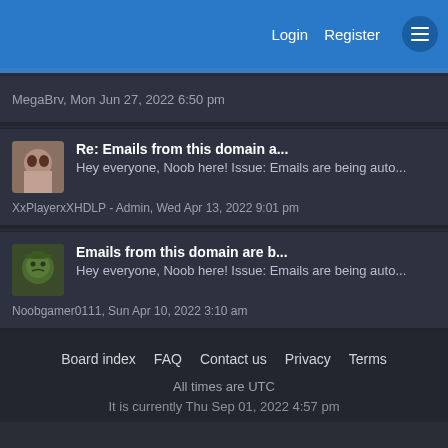Login   Register
MegaBrv, Mon Jun 27, 2022 6:50 pm
Re: Emails from this domain a...
Hey everyone, Noob here! Issue: Emails are being auto...
XxPlayerxXHDLP - Admin, Wed Apr 13, 2022 9:01 pm
Emails from this domain are b...
Hey everyone, Noob here! Issue: Emails are being auto...
Noobgamer0111, Sun Apr 10, 2022 3:10 am
Board index   FAQ   Contact us   Privacy   Terms
All times are UTC
It is currently Thu Sep 01, 2022 4:57 pm